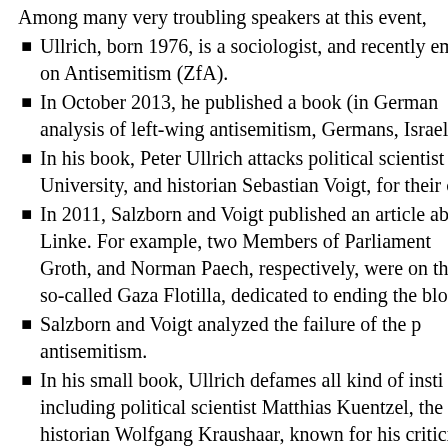Among many very troubling speakers at this event,
Ullrich, born 1976, is a sociologist, and recently em... on Antisemitism (ZfA).
In October 2013, he published a book (in German... analysis of left-wing antisemitism, Germans, Israel,
In his book, Peter Ullrich attacks political scientist... University, and historian Sebastian Voigt, for their c...
In 2011, Salzborn and Voigt published an article abo... Linke. For example, two Members of Parliament... Groth, and Norman Paech, respectively, were on the... so-called Gaza Flotilla, dedicated to ending the bloc...
Salzborn and Voigt analyzed the failure of the p... antisemitism.
In his small book, Ullrich defames all kind of insti... including political scientist Matthias Kuentzel, the... historian Wolfgang Kraushaar, known for his criticis...
Scholars like Ullrich no longer deny any debate abo...